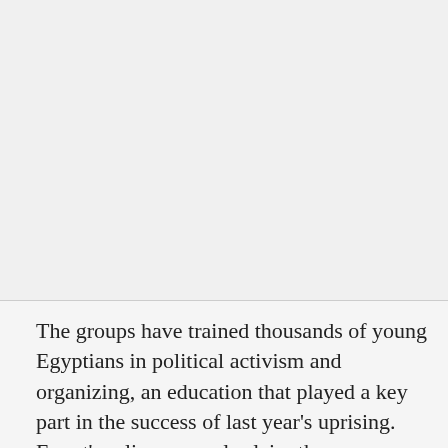[Figure (photo): Large image placeholder area occupying the upper portion of the page]
The groups have trained thousands of young Egyptians in political activism and organizing, an education that played a key part in the success of last year's uprising. Egypt's ruling generals claim they